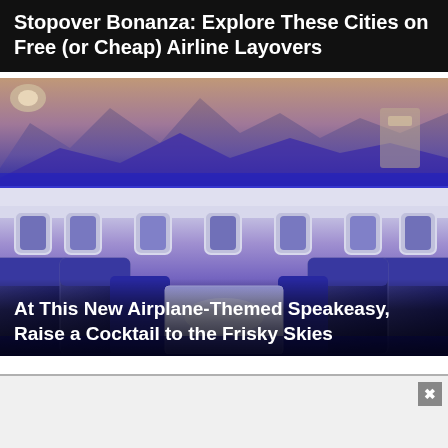Stopover Bonanza: Explore These Cities on Free (or Cheap) Airline Layovers
[Figure (photo): Interior of an airplane-themed speakeasy bar with airline seats arranged around a glowing blue illuminated table, airplane windows along the walls, and a mountain diorama display lit with blue light on a shelf above.]
At This New Airplane-Themed Speakeasy, Raise a Cocktail to the Frisky Skies
[Figure (other): Advertisement banner at the bottom of the page with a close/X button in the upper right corner.]